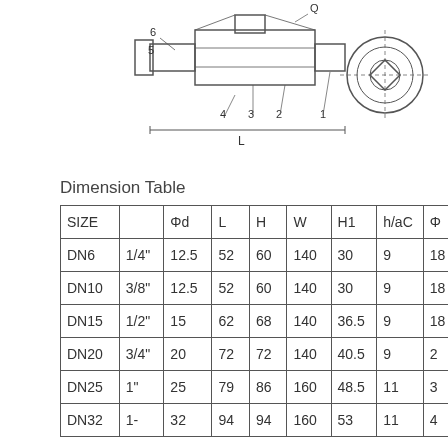[Figure (engineering-diagram): Technical cross-section drawing of a valve or fitting showing numbered parts (1-6), dimension L marked, with a front view on the left and an end/side view on the right showing a square-in-circle symbol.]
Dimension Table
| SIZE |  | Φd | L | H | W | H1 | h/aC | Φ |
| --- | --- | --- | --- | --- | --- | --- | --- | --- |
| DN6 | 1/4" | 12.5 | 52 | 60 | 140 | 30 | 9 | 18 |
| DN10 | 3/8" | 12.5 | 52 | 60 | 140 | 30 | 9 | 18 |
| DN15 | 1/2" | 15 | 62 | 68 | 140 | 36.5 | 9 | 18 |
| DN20 | 3/4" | 20 | 72 | 72 | 140 | 40.5 | 9 | 27 |
| DN25 | 1" | 25 | 79 | 86 | 160 | 48.5 | 11 | 32 |
| DN32 | 1- | 32 | 94 | 94 | 160 | 53 | 11 | 42 |